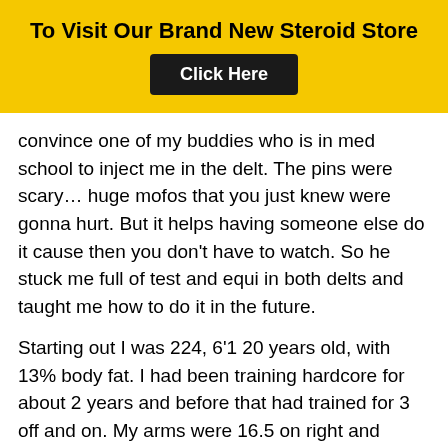To Visit Our Brand New Steroid Store
Click Here
convince one of my buddies who is in med school to inject me in the delt. The pins were scary… huge mofos that you just knew were gonna hurt. But it helps having someone else do it cause then you don't have to watch. So he stuck me full of test and equi in both delts and taught me how to do it in the future.
Starting out I was 224, 6'1 20 years old, with 13% body fat. I had been training hardcore for about 2 years and before that had trained for 3 off and on. My arms were 16.5 on right and 15.75 of left. It only took a week to gain 5 pounds! By the second week